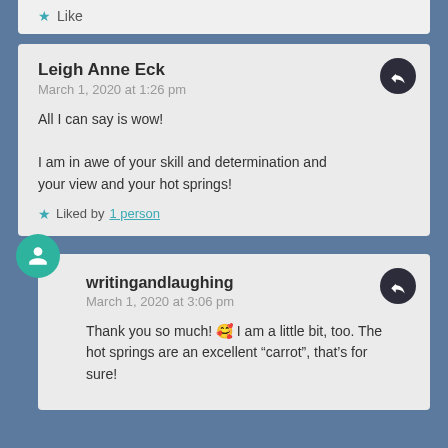Like
Leigh Anne Eck
March 1, 2020 at 1:26 pm

All I can say is wow!

I am in awe of your skill and determination and your view and your hot springs!

Liked by 1 person
writingandlaughing
March 1, 2020 at 3:06 pm

Thank you so much! 🥰 I am a little bit, too. The hot springs are an excellent “carrot”, that's for sure!